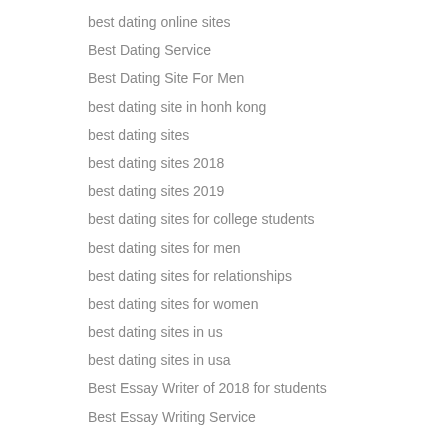best dating online sites
Best Dating Service
Best Dating Site For Men
best dating site in honh kong
best dating sites
best dating sites 2018
best dating sites 2019
best dating sites for college students
best dating sites for men
best dating sites for relationships
best dating sites for women
best dating sites in us
best dating sites in usa
Best Essay Writer of 2018 for students
Best Essay Writing Service